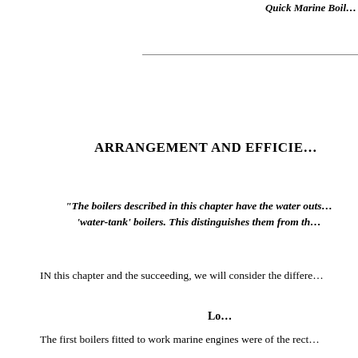Quick Marine Boil…
ARRANGEMENT AND EFFICIE…
"The boilers described in this chapter have the water outs… 'water-tank' boilers. This distinguishes them from th…
IN this chapter and the succeeding, we will consider the differe…
Lo…
The first boilers fitted to work marine engines were of the rect…